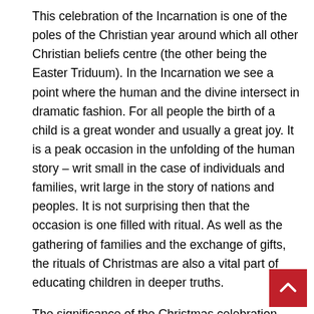This celebration of the Incarnation is one of the poles of the Christian year around which all other Christian beliefs centre (the other being the Easter Triduum). In the Incarnation we see a point where the human and the divine intersect in dramatic fashion. For all people the birth of a child is a great wonder and usually a great joy. It is a peak occasion in the unfolding of the human story – writ small in the case of individuals and families, writ large in the story of nations and peoples. It is not surprising then that the occasion is one filled with ritual. As well as the gathering of families and the exchange of gifts, the rituals of Christmas are also a vital part of educating children in deeper truths.
The significance of the Christmas celebration has not been lost in history or simply confined to church – it was a frequent day for the crowning of monarchs, in particular